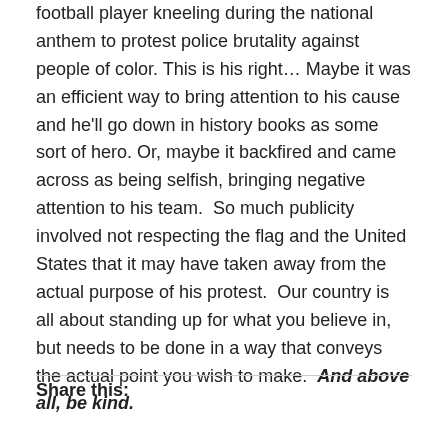football player kneeling during the national anthem to protest police brutality against people of color. This is his right… Maybe it was an efficient way to bring attention to his cause and he'll go down in history books as some sort of hero. Or, maybe it backfired and came across as being selfish, bringing negative attention to his team.  So much publicity involved not respecting the flag and the United States that it may have taken away from the actual purpose of his protest.  Our country is all about standing up for what you believe in, but needs to be done in a way that conveys the actual point you wish to make.  And above all, be kind.
Share this: